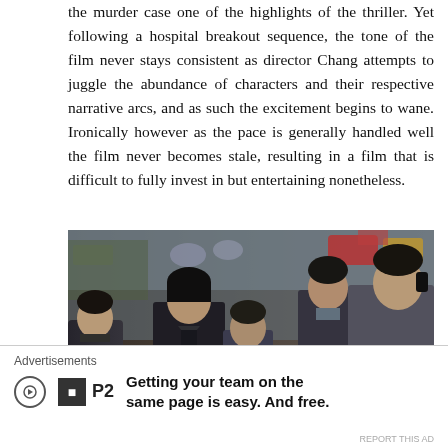the murder case one of the highlights of the thriller. Yet following a hospital breakout sequence, the tone of the film never stays consistent as director Chang attempts to juggle the abundance of characters and their respective narrative arcs, and as such the excitement begins to wane. Ironically however as the pace is generally handled well the film never becomes stale, resulting in a film that is difficult to fully invest in but entertaining nonetheless.
[Figure (photo): Film still showing five people standing in what appears to be a cluttered room or workshop. From left: a man in dark clothing partially visible, a woman with short dark hair in a dark jacket, another person behind her, a taller man in the background, and a man on the right in a gray coat talking on a phone. All appear to be wearing ID badges.]
Advertisements
Getting your team on the same page is easy. And free.